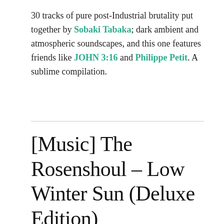30 tracks of pure post-Industrial brutality put together by Sobaki Tabaka; dark ambient and atmospheric soundscapes, and this one features friends like JOHN 3:16 and Philippe Petit. A sublime compilation.
[Music] The Rosenshoul – Low Winter Sun (Deluxe Edition)
APRIL 25, 2019 / LEAVE A COMMENT